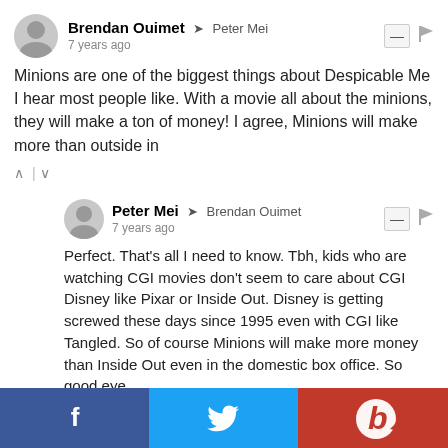Brendan Ouimet → Peter Mei
7 years ago
Minions are one of the biggest things about Despicable Me I hear most people like. With a movie all about the minions, they will make a ton of money! I agree, Minions will make more than outside in
Peter Mei → Brendan Ouimet
7 years ago
Perfect. That's all I need to know. Tbh, kids who are watching CGI movies don't seem to care about CGI Disney like Pixar or Inside Out. Disney is getting screwed these days since 1995 even with CGI like Tangled. So of course Minions will make more money than Inside Out even in the domestic box office. So good eye.
ScamScum → Peter Mei